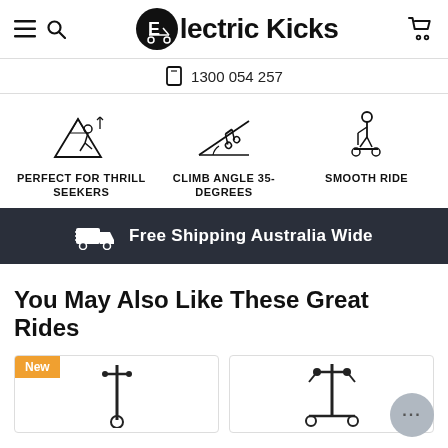Electric Kicks — 1300 054 257
[Figure (infographic): Three feature icons: 'Perfect for Thrill Seekers' (rider on mountain), 'Climb Angle 35-Degrees' (scooter on slope), 'Smooth Ride' (person on scooter)]
Free Shipping Australia Wide
You May Also Like These Great Rides
[Figure (photo): Product card with 'New' badge showing electric scooter handlebar]
[Figure (photo): Product card showing electric scooter with handlebars]